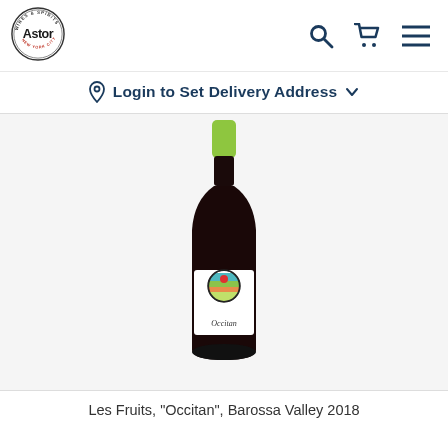[Figure (logo): Astor Wines & Spirits circular logo with text 'Astor' in center, 'WINES & SPIRITS' on top arc, 'NEW YORK CITY' on bottom arc]
[Figure (other): Shopping icons: search magnifying glass, shopping cart, hamburger menu — dark navy blue]
Login to Set Delivery Address
[Figure (photo): Wine bottle photo: dark glass bottle with bright green foil capsule, white label featuring a circular logo with colorful horizontal stripes (teal, green, red) and a red dot, with 'Occitan' written in cursive below the circle. Product: Les Fruits Occitan Barossa Valley 2018.]
Les Fruits, "Occitan", Barossa Valley 2018